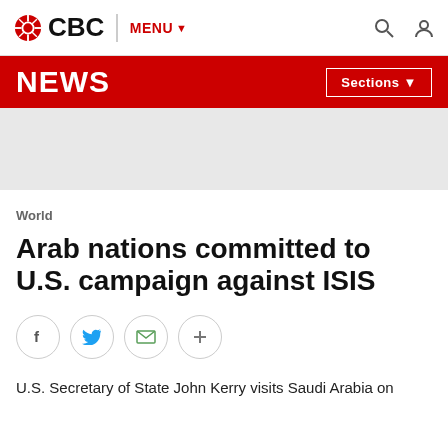[Figure (logo): CBC logo with gem icon and MENU navigation bar with search and user icons]
NEWS  Sections
[Figure (other): Grey advertisement/banner placeholder area]
World
Arab nations committed to U.S. campaign against ISIS
[Figure (infographic): Social share buttons: Facebook, Twitter, Email, More (+)]
U.S. Secretary of State John Kerry visits Saudi Arabia on